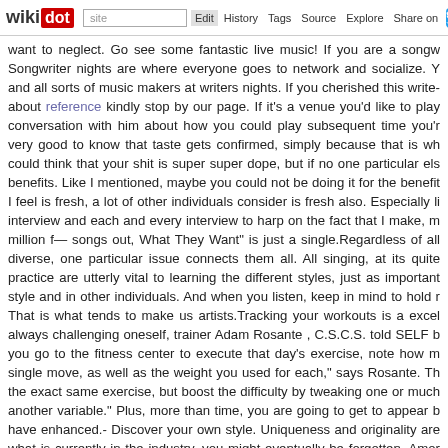wikidot | site Edit History Tags Source Explore Share on [Twitter]
want to neglect. Go see some fantastic live music! If you are a songw Songwriter nights are where everyone goes to network and socialize. Y and all sorts of music makers at writers nights. If you cherished this write- about reference kindly stop by our page. If it's a venue you'd like to play conversation with him about how you could play subsequent time you'r very good to know that taste gets confirmed, simply because that is wh could think that your shit is super super dope, but if no one particular els benefits. Like I mentioned, maybe you could not be doing it for the benefit I feel is fresh, a lot of other individuals consider is fresh also. Especially li interview and each and every interview to harp on the fact that I make, m million f— songs out, What They Want" is just a single.Regardless of all diverse, one particular issue connects them all. All singing, at its quite practice are utterly vital to learning the different styles, just as important style and in other individuals. And when you listen, keep in mind to hold r That is what tends to make us artists.Tracking your workouts is a excel always challenging oneself, trainer Adam Rosante , C.S.C.S. told SELF b you go to the fitness center to execute that day's exercise, note how m single move, as well as the weight you used for each," says Rosante. Th the exact same exercise, but boost the difficulty by tweaking one or much another variable." Plus, more than time, you are going to get to appear b have enhanced.- Discover your own style. Uniqueness and originality are what is currently in the industry, you might eventually be forgotten. Amor support you make your personal songs is to make it stand out, make it women want to listen to. Know your target audience as effectively. marketplace and fan base for your songs. Of course, not all songs can pl can please a larger crowd.  It occurs about when a year in hip-hop pro sound, somebody figures out how to get a weird noise out of some piece noise, somebody figures out a way to make a drum machine say the exac